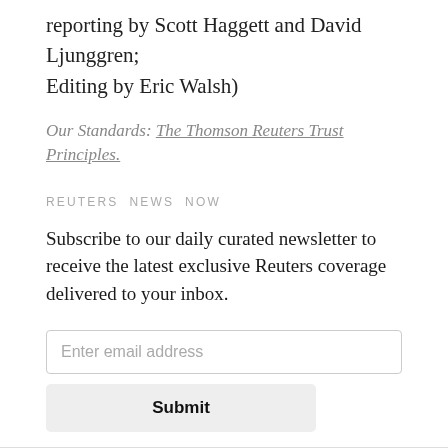reporting by Scott Haggett and David Ljunggren; Editing by Eric Walsh)
Our Standards: The Thomson Reuters Trust Principles.
REUTERS NEWS NOW
Subscribe to our daily curated newsletter to receive the latest exclusive Reuters coverage delivered to your inbox.
Enter email address
Submit